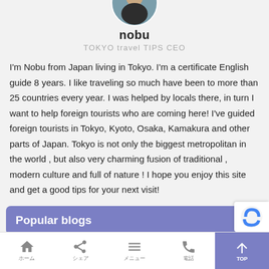[Figure (photo): Circular profile photo of a person (nobu) cropped at the top of the page]
nobu
TOKYO travel TIPS CEO
I'm Nobu from Japan living in Tokyo. I'm a certificate English guide 8 years. I like traveling so much have been to more than 25 countries every year. I was helped by locals there, in turn I want to help foreign tourists who are coming here! I've guided foreign tourists in Tokyo, Kyoto, Osaka, Kamakura and other parts of Japan. Tokyo is not only the biggest metropolitan in the world , but also very charming fusion of traditional , modern culture and full of nature ! I hope you enjoy this site and get a good tips for your next visit!
Popular blogs
CHERRY BLOSSOM FORECAST
220 views
Why don't you enjoy mysterious 30000 lanterns festival!
ホーム　シェア　メニュー　電話　TOP